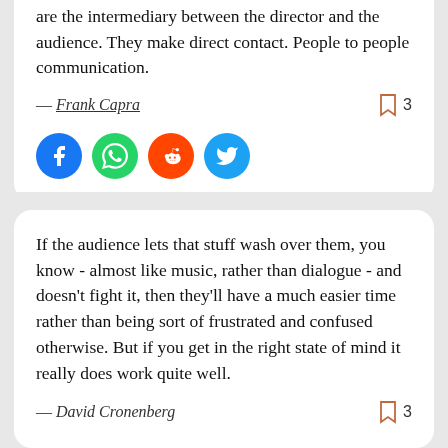are the intermediary between the director and the audience. They make direct contact. People to people communication.
— Frank Capra
[Figure (other): Social share buttons: Facebook, WhatsApp, Reddit, Twitter]
If the audience lets that stuff wash over them, you know - almost like music, rather than dialogue - and doesn't fight it, then they'll have a much easier time rather than being sort of frustrated and confused otherwise. But if you get in the right state of mind it really does work quite well.
— David Cronenberg